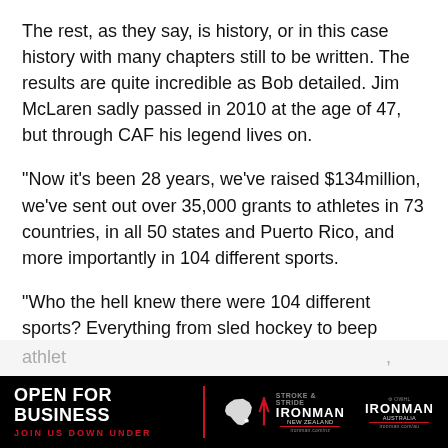The rest, as they say, is history, or in this case history with many chapters still to be written. The results are quite incredible as Bob detailed. Jim McLaren sadly passed in 2010 at the age of 47, but through CAF his legend lives on.
“Now it’s been 28 years, we’ve raised $134million, we’ve sent out over 35,000 grants to athletes in 73 countries, in all 50 states and Puerto Rico, and more importantly in 104 different sports.
“Who the hell knew there were 104 different sports? Everything from sled hockey to beep baseball – which is baseball for the blind, to handcycling to paratriathlon to Para Nordic Skiing, the Para Biathlon. It’s crazy, there’s so many different sports and so many athletes...seeing...
[Figure (infographic): Black advertisement banner reading 'OPEN FOR BUSINESS / JOIN US DOWN UNDER' with Ironman New Zealand and Ironman Australia logos and an Australia map outline]